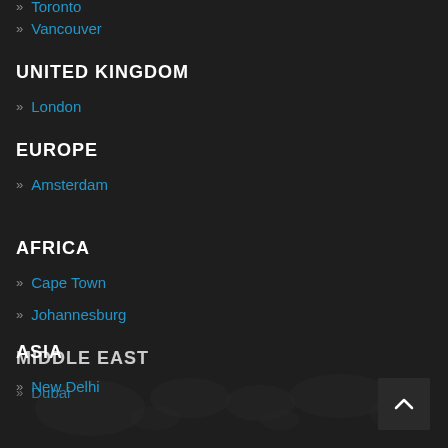» Toronto
» Vancouver
UNITED KINGDOM
» London
EUROPE
» Amsterdam
AFRICA
» Cape Town
» Johannesburg
MIDDLE EAST
» Dubai
ASIA
» New Delhi